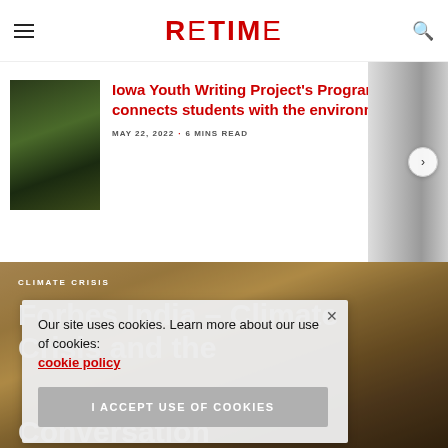RETIME
[Figure (photo): Photo of a turtle or reptile in green foliage]
Iowa Youth Writing Project's Program connects students with the environment
MAY 22, 2022 · 6 MINS READ
[Figure (photo): Background photo of cracked dry earth/desert landscape under hazy sky]
CLIMATE CRISIS
Forbes India – Climate
Conversation
Our site uses cookies. Learn more about our use of cookies: cookie policy
I ACCEPT USE OF COOKIES